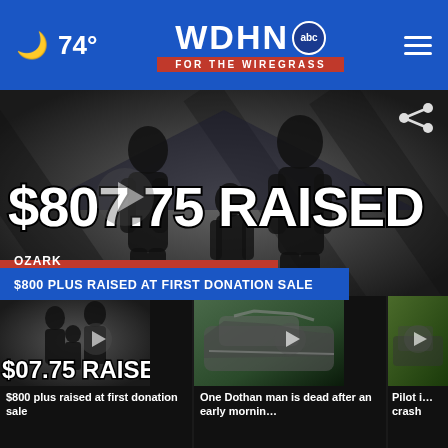🌙 74° | WDHN ABC FOR THE WIREGRASS
[Figure (screenshot): Video thumbnail showing silhouetted family figures with large text overlay '$807.75 RAISED' and lower third banner reading '$800 PLUS RAISED AT FIRST DONATION SALE' with OZARK location tag. Play button visible.]
$800 PLUS RAISED AT FIRST DONATION SALE
[Figure (screenshot): Thumbnail of first video: family silhouette image with '$07.75 RAISE' visible, play button overlay]
$800 plus raised at first donation sale
[Figure (screenshot): Thumbnail of second video: car crash scene, play button overlay]
One Dothan man is dead after an early mornin…
[Figure (screenshot): Thumbnail of third video: outdoor scene, partially visible]
Pilot i… crash